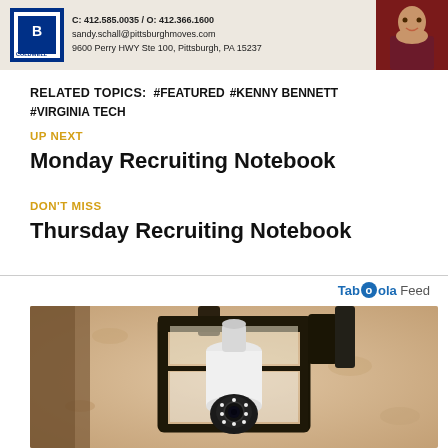[Figure (photo): Coldwell Banker advertisement banner with logo, contact info (C: 412.585.0035 / O: 412.366.1600, sandy.schall@pittsburghmoves.com, 9600 Perry HWY Ste 100, Pittsburgh, PA 15237) and a person in a floral shirt]
RELATED TOPICS: #FEATURED #KENNY BENNETT #VIRGINIA TECH
UP NEXT
Monday Recruiting Notebook
DON'T MISS
Thursday Recruiting Notebook
Taboola Feed
[Figure (photo): Photo of an outdoor lantern-style wall light fixture with a camera-shaped bulb/device installed inside it, mounted on a textured stone/stucco wall]